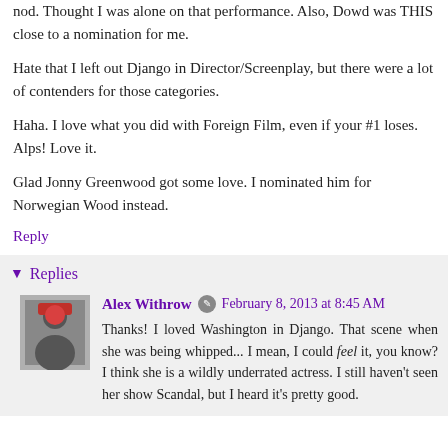nod. Thought I was alone on that performance. Also, Dowd was THIS close to a nomination for me.
Hate that I left out Django in Director/Screenplay, but there were a lot of contenders for those categories.
Haha. I love what you did with Foreign Film, even if your #1 loses. Alps! Love it.
Glad Jonny Greenwood got some love. I nominated him for Norwegian Wood instead.
Reply
Replies
Alex Withrow  February 8, 2013 at 8:45 AM
Thanks! I loved Washington in Django. That scene when she was being whipped... I mean, I could feel it, you know? I think she is a wildly underrated actress. I still haven't seen her show Scandal, but I heard it's pretty good.